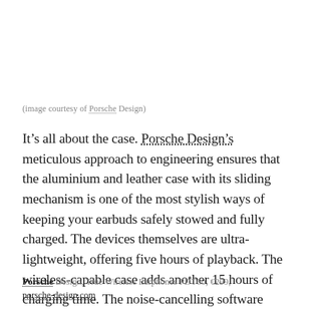(image courtesy of Porsche Design)
It’s all about the case. Porsche Design’s meticulous approach to engineering ensures that the aluminium and leather case with its sliding mechanism is one of the most stylish ways of keeping your earbuds safely stowed and fully charged. The devices themselves are ultra-lightweight, offering five hours of playback. The wireless-capable case adds another 15 hours of charging time. The noise-cancelling software enhances music and brings clarity to phone calls.
Porsche Design, True Wireless Earphones PDT60, €299, porsche-design.com